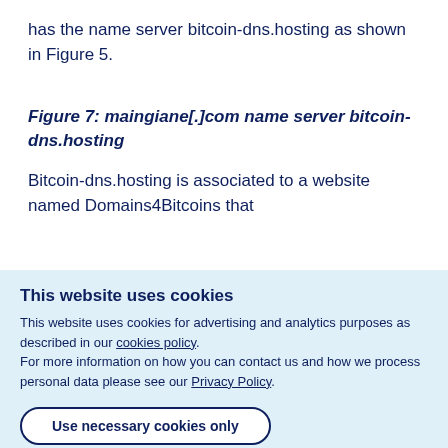has the name server bitcoin-dns.hosting as shown in Figure 5.
Figure 7: maingiane[.]com name server bitcoin-dns.hosting
Bitcoin-dns.hosting is associated to a website named Domains4Bitcoins that
This website uses cookies
This website uses cookies for advertising and analytics purposes as described in our cookies policy.
For more information on how you can contact us and how we process personal data please see our Privacy Policy.
Use necessary cookies only
Allow all cookies
Show details